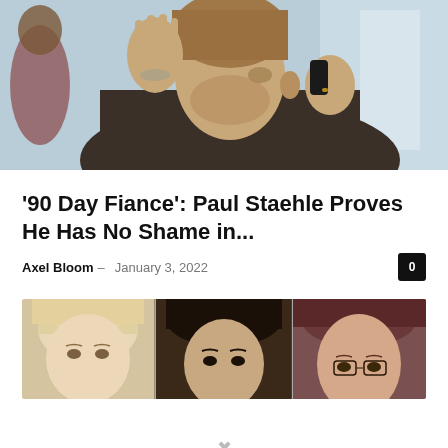[Figure (photo): A man talking on a phone, holding his other hand up, with a tattoo visible on his wrist. Background shows a light-colored room.]
'90 Day Fiance': Paul Staehle Proves He Has No Shame in...
Axel Bloom – January 3, 2022
[Figure (photo): A composite photo showing three women's faces side by side: a blonde woman, a brunette woman, and a woman with reddish-brown hair wearing glasses.]